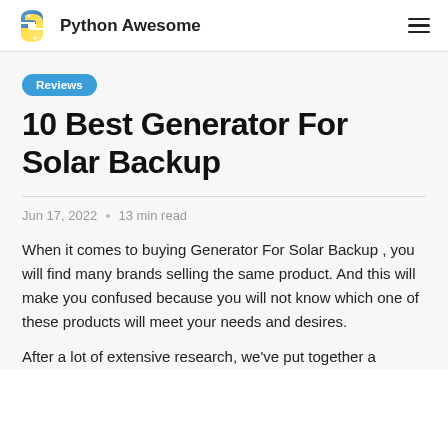Python Awesome
Reviews
10 Best Generator For Solar Backup
Jun 17, 2022 • 13 min read
When it comes to buying Generator For Solar Backup , you will find many brands selling the same product. And this will make you confused because you will not know which one of these products will meet your needs and desires.
After a lot of extensive research, we've put together a